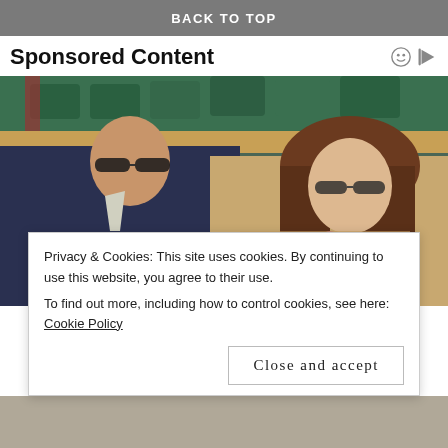BACK TO TOP
Sponsored Content
[Figure (photo): Two people sitting in stadium seats at what appears to be Wimbledon. On the left, an older man in a dark navy suit with a light tie wearing sunglasses. On the right, a young woman with long brown hair wearing sunglasses and a beige sparkly outfit with a pink flower brooch.]
Privacy & Cookies: This site uses cookies. By continuing to use this website, you agree to their use.
To find out more, including how to control cookies, see here: Cookie Policy
Close and accept